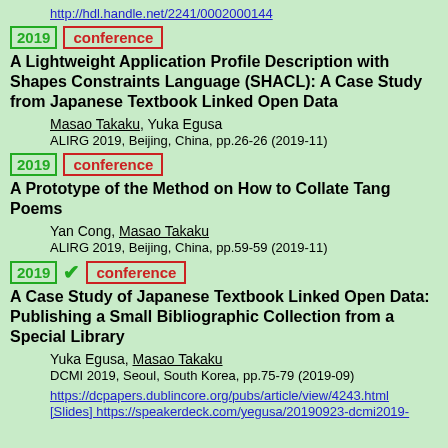http://hdl.handle.net/2241/0002000144
2019 conference
A Lightweight Application Profile Description with Shapes Constraints Language (SHACL): A Case Study from Japanese Textbook Linked Open Data
Masao Takaku, Yuka Egusa
ALIRG 2019, Beijing, China, pp.26-26 (2019-11)
2019 conference
A Prototype of the Method on How to Collate Tang Poems
Yan Cong, Masao Takaku
ALIRG 2019, Beijing, China, pp.59-59 (2019-11)
2019 ✔ conference
A Case Study of Japanese Textbook Linked Open Data: Publishing a Small Bibliographic Collection from a Special Library
Yuka Egusa, Masao Takaku
DCMI 2019, Seoul, South Korea, pp.75-79 (2019-09)
https://dcpapers.dublincore.org/pubs/article/view/4243.html
[Slides] https://speakerdeck.com/yegusa/20190923-dcmi2019-